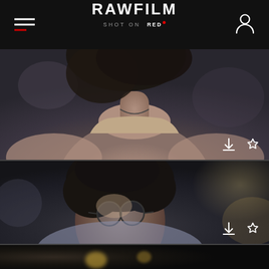RAWFILM — SHOT ON RED
[Figure (photo): Cinematic still of a woman's torso wearing a beige sleeveless top, bokeh background, shot on RED camera]
[Figure (photo): Cinematic close-up of a young man with curly dark hair and round glasses wearing a light grey t-shirt, bokeh background, shot on RED camera]
[Figure (photo): Partial view of a third cinematic still, partially visible at the bottom of the screen]